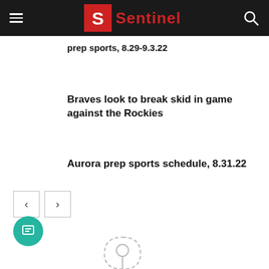Sentinel
prep sports, 8.29-9.3.22
Braves look to break skid in game against the Rockies
Aurora prep sports schedule, 8.31.22